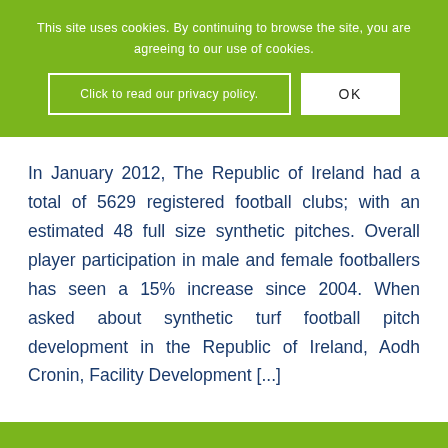This site uses cookies. By continuing to browse the site, you are agreeing to our use of cookies.
Click to read our privacy policy.
OK
In January 2012, The Republic of Ireland had a total of 5629 registered football clubs; with an estimated 48 full size synthetic pitches. Overall player participation in male and female footballers has seen a 15% increase since 2004. When asked about synthetic turf football pitch development in the Republic of Ireland, Aodh Cronin, Facility Development [...]